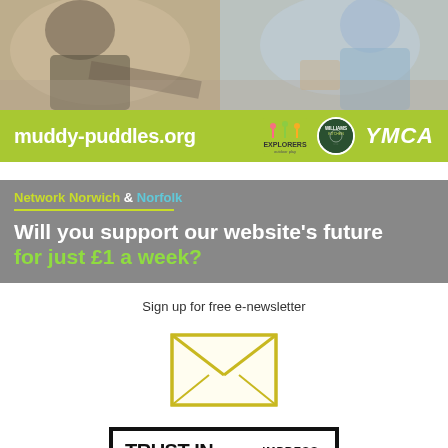[Figure (photo): Photo banner showing two people in a kitchen setting, one in dark clothing, one in light blue clothing]
[Figure (infographic): Green banner with muddy-puddles.org URL and logos: Explorers, Williams Kitchen, YMCA]
[Figure (infographic): Grey banner with Network Norwich & Norfolk branding and text: Will you support our website's future for just £1 a week?]
Sign up for free e-newsletter
[Figure (illustration): Yellow envelope icon illustration]
[Figure (logo): Trust in Journalism - Impress logo box]